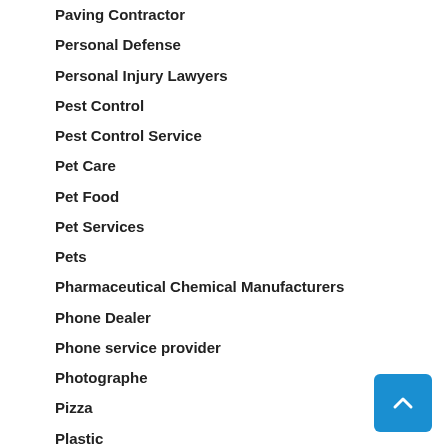Paving Contractor
Personal Defense
Personal Injury Lawyers
Pest Control
Pest Control Service
Pet Care
Pet Food
Pet Services
Pets
Pharmaceutical Chemical Manufacturers
Phone Dealer
Phone service provider
Photographe
Pizza
Plastic
Plastic Injection Molding Service
Plastic Packaging Bags